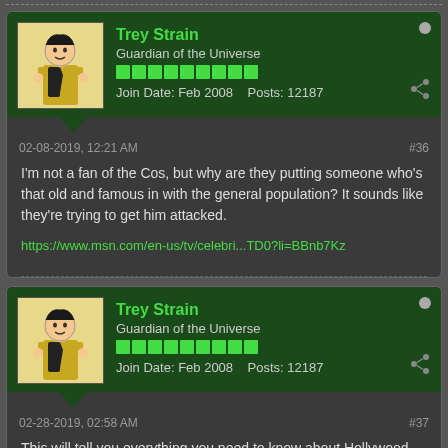Trey Strain
Guardian of the Universe
Join Date: Feb 2008  Posts: 12187
02-08-2019, 12:21 AM
#36
I'm not a fan of the Cos, but why are they putting someone who's that old and famous in with the general population? It sounds like they're trying to get him attacked.
https://www.msn.com/en-us/tv/celebri...TD0?li=BBnb7Kz
Trey Strain
Guardian of the Universe
Join Date: Feb 2008  Posts: 12187
02-28-2019, 02:58 AM
#37
This will tell you everything you need to know about Hollywood...